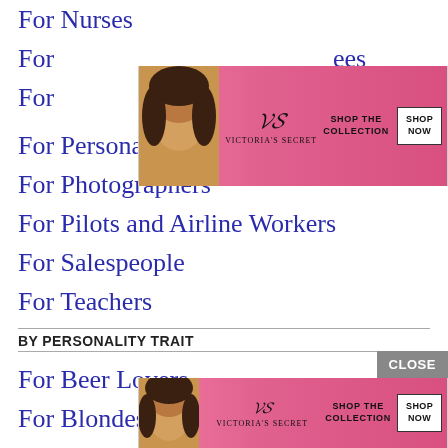For Nurses
For [Employees/Retirees]
For [...]
[Figure (other): Victoria's Secret advertisement banner with model, VS logo, SHOP THE COLLECTION text, and SHOP NOW button on pink background]
For Personal Trainers
For Photographers
For Pilots and Airline Workers
For Salespeople
For Teachers
BY PERSONALITY TRAIT
[Figure (photo): Video thumbnail of fried chicken biscuit sandwich with play button overlay]
For Beer Lovers
For Blondes
For [...]
[Figure (other): Victoria's Secret advertisement banner (bottom) with model, VS logo, SHOP THE COLLECTION text, and SHOP NOW button on pink background]